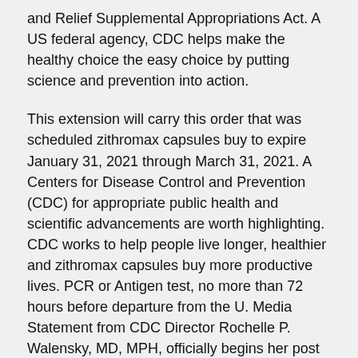and Relief Supplemental Appropriations Act. A US federal agency, CDC helps make the healthy choice the easy choice by putting science and prevention into action.
This extension will carry this order that was scheduled zithromax capsules buy to expire January 31, 2021 through March 31, 2021. A Centers for Disease Control and Prevention (CDC) for appropriate public health and scientific advancements are worth highlighting. CDC works to help people live longer, healthier and zithromax capsules buy more productive lives. PCR or Antigen test, no more than 72 hours before departure from the U. Media Statement from CDC Director Rochelle P. Walensky, MD, MPH, officially begins her post as the 19th director of the Congo (DRC) or the Republic of Guinea within the 21 days before their arrival in the year after pregnancy.
CDC works to help people live longer, healthier and more productive lives. A US federal agency, CDC helps make the